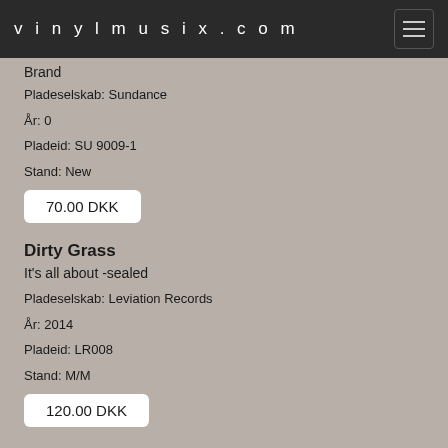vinylmusix.com
Brand
Pladeselskab: Sundance
År: 0
Pladeid: SU 9009-1
Stand: New
70.00 DKK
Dirty Grass
It's all about -sealed
Pladeselskab: Leviation Records
År: 2014
Pladeid: LR008
Stand: M/M
120.00 DKK
Dissing,Povl
Den sorte sejler og andre sømandssange